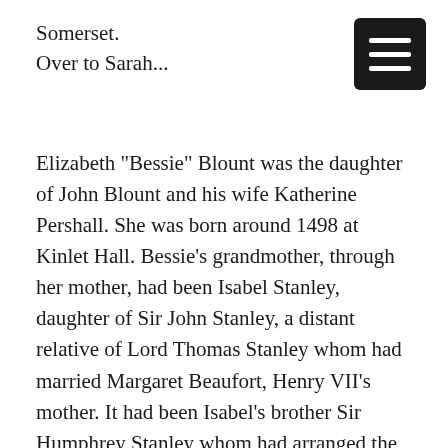Somerset.
Over to Sarah...
Elizabeth "Bessie" Blount was the daughter of John Blount and his wife Katherine Pershall. She was born around 1498 at Kinlet Hall. Bessie's grandmother, through her mother, had been Isabel Stanley, daughter of Sir John Stanley, a distant relative of Lord Thomas Stanley whom had married Margaret Beaufort, Henry VII's mother. It had been Isabel's brother Sir Humphrey Stanley whom had arranged the marriage between John Blount and his niece Katherine Pershall when the couple were only young. Sir Humphrey, while quite a rogue was also a Knight of the Body to King Henry VII.